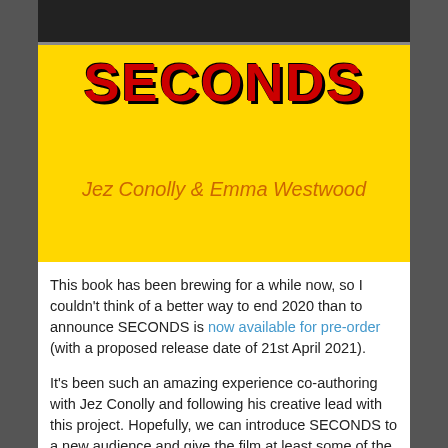[Figure (photo): Top portion of a book cover image shown at the top of the page, dark background with partial imagery visible]
SECONDS
Jez Conolly & Emma Westwood
This book has been brewing for a while now, so I couldn't think of a better way to end 2020 than to announce SECONDS is now available for pre-order (with a proposed release date of 21st April 2021).
It's been such an amazing experience co-authoring with Jez Conolly and following his creative lead with this project. Hopefully, we can introduce SECONDS to a new audience and give the film at least some of the acclaim it deserves.
Viva Rock Hudson!